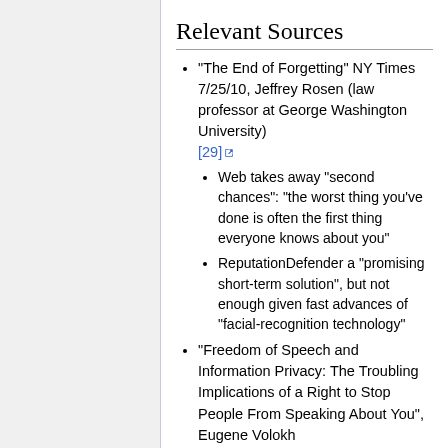Relevant Sources
"The End of Forgetting" NY Times 7/25/10, Jeffrey Rosen (law professor at George Washington University) [29]
Web takes away "second chances": "the worst thing you've done is often the first thing everyone knows about you"
ReputationDefender a "promising short-term solution", but not enough given fast advances of "facial-recognition technology"
"Freedom of Speech and Information Privacy: The Troubling Implications of a Right to Stop People From Speaking About You", Eugene Volokh [30]